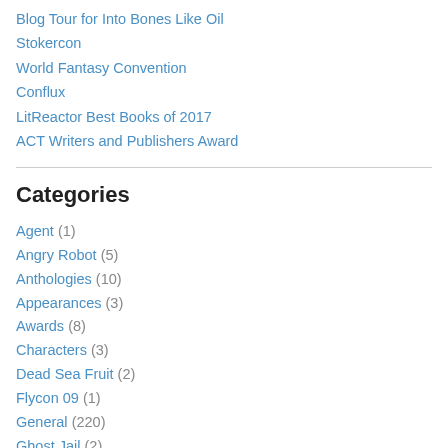Blog Tour for Into Bones Like Oil
Stokercon
World Fantasy Convention
Conflux
LitReactor Best Books of 2017
ACT Writers and Publishers Award
Categories
Agent (1)
Angry Robot (5)
Anthologies (10)
Appearances (3)
Awards (8)
Characters (3)
Dead Sea Fruit (2)
Flycon 09 (1)
General (220)
Ghost Jail (2)